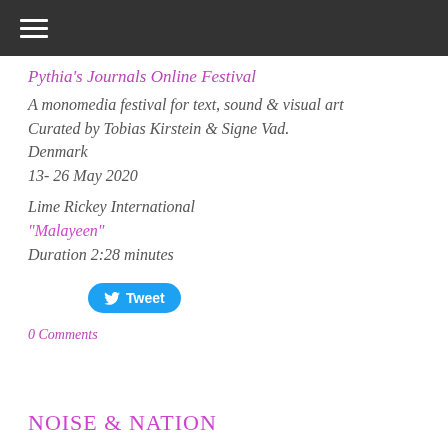☰
Pythia's Journals Online Festival
A monomedia festival for text, sound & visual art
Curated by Tobias Kirstein & Signe Vad.
Denmark
13- 26 May 2020
Lime Rickey International
"Malayeen"
Duration 2:28 minutes
[Figure (other): Twitter Tweet button (blue pill-shaped button with bird icon and 'Tweet' text)]
0 Comments
NOISE & NATION